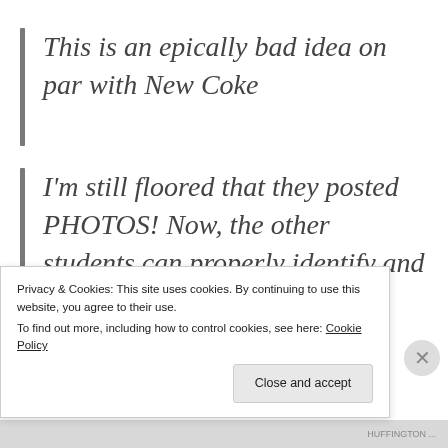This is an epically bad idea on par with New Coke
I'm still floored that they posted PHOTOS! Now, the other students can properly identify and chide the lowest performers
Privacy & Cookies: This site uses cookies. By continuing to use this website, you agree to their use.
To find out more, including how to control cookies, see here: Cookie Policy